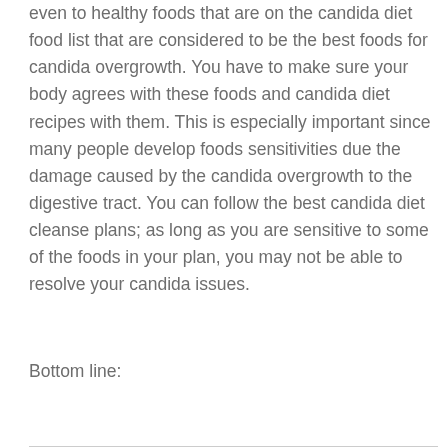even to healthy foods that are on the candida diet food list that are considered to be the best foods for candida overgrowth. You have to make sure your body agrees with these foods and candida diet recipes with them. This is especially important since many people develop foods sensitivities due the damage caused by the candida overgrowth to the digestive tract. You can follow the best candida diet cleanse plans; as long as you are sensitive to some of the foods in your plan, you may not be able to resolve your candida issues.
Bottom line: